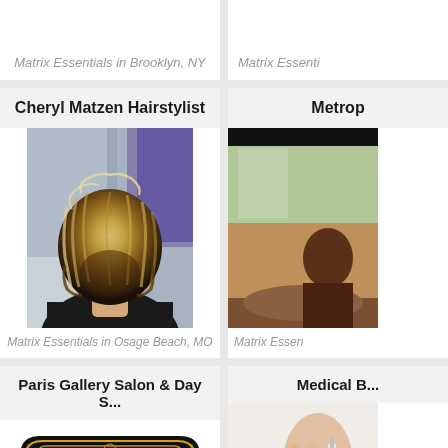Matrix Essentials in Brooklyn, NY
Matrix Essenti...
Cheryl Matzen Hairstylist
Metrop...
[Figure (photo): Back view of a woman with short wavy blonde hair in a salon]
[Figure (photo): Partial photo of a salon interior]
Matrix Essentials in Osage Beach, MO
Matrix Essen...
Paris Gallery Salon & Day S...
Medical B...
[Figure (logo): Pari's Gallery Hair Salon & Day Spa sign - black background with gold script lettering]
[Figure (photo): Medical/beauty treatment photo showing hands near face]